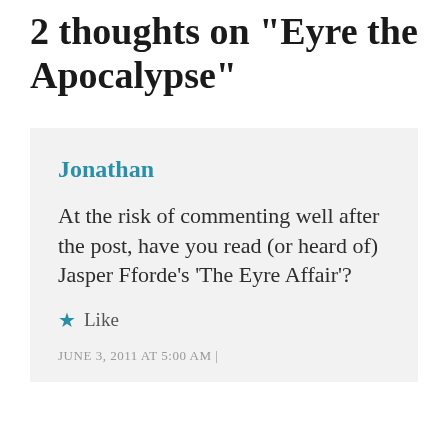2 thoughts on “Eyre the Apocalypse”
Jonathan
At the risk of commenting well after the post, have you read (or heard of) Jasper Fforde’s ‘The Eyre Affair’?
★ Like
JUNE 3, 2011 AT 5:00 AM |